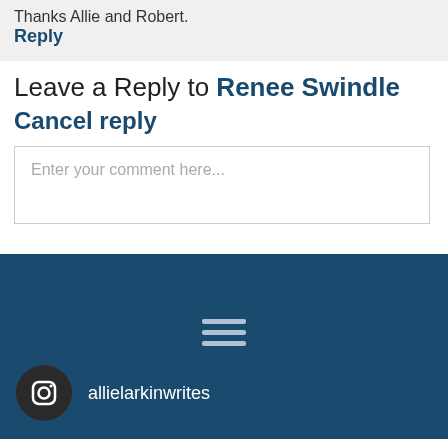Thanks Allie and Robert.
Reply
Leave a Reply to Renee Swindle Cancel reply
Enter your comment here...
[Figure (other): Hamburger menu icon (three horizontal lines) in white/light blue on dark blue background]
allielarkinwrites